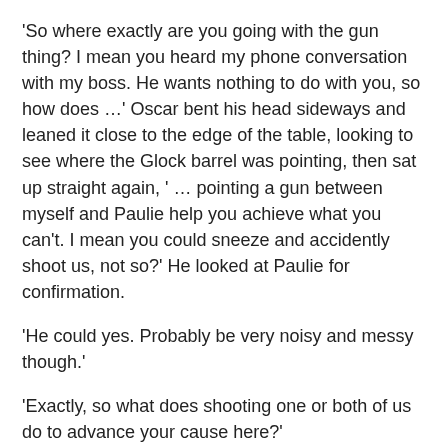'So where exactly are you going with the gun thing? I mean you heard my phone conversation with my boss. He wants nothing to do with you, so how does …' Oscar bent his head sideways and leaned it close to the edge of the table, looking to see where the Glock barrel was pointing, then sat up straight again, ' … pointing a gun between myself and Paulie help you achieve what you can't. I mean you could sneeze and accidently shoot us, not so?' He looked at Paulie for confirmation.
'He could yes. Probably be very noisy and messy though.'
'Exactly, so what does shooting one or both of us do to advance your cause here?'
'You don't think we're serious, do you? I mean, are you two are like the local comic act? If I shoot you, then maybe Tom and Jerry and Trevor downstairs